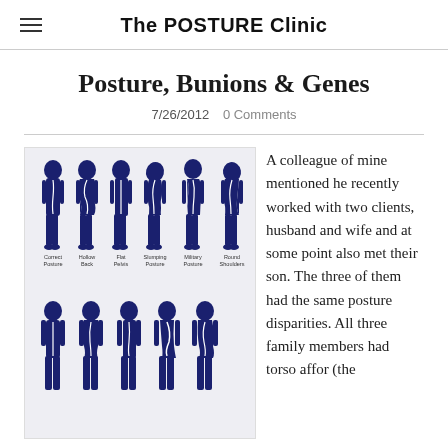The POSTURE Clinic
Posture, Bunions & Genes
7/26/2012   0 Comments
[Figure (illustration): Illustration showing six silhouette figures from the side view depicting different posture types: Correct Posture, Hollow Back, Flat Pelvis, Slumping Posture, Military Posture, Round Shoulders. Below that, six rear-view silhouettes showing spine curvature variations.]
A colleague of mine mentioned he recently worked with two clients, husband and wife and at some point also met their son. The three of them had the same posture disparities. All three family members had torso affor (the...